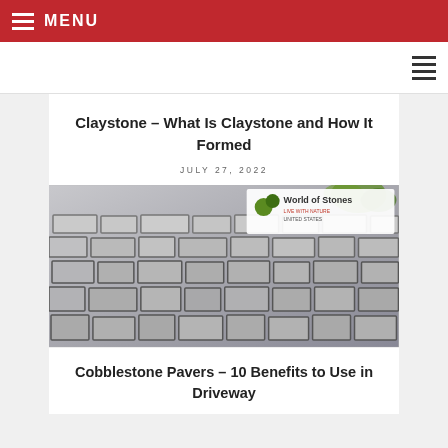MENU
Claystone – What Is Claystone and How It Formed
JULY 27, 2022
[Figure (photo): Photograph of grey cobblestone/claystone pavers arranged in a patterned driveway, with a World of Stones logo overlay in the upper right corner.]
Cobblestone Pavers – 10 Benefits to Use in Driveway